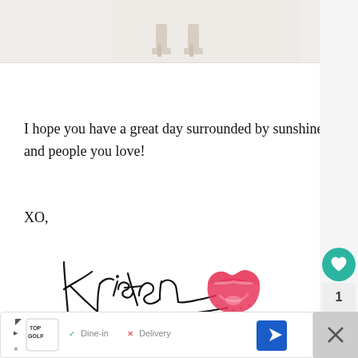[Figure (photo): Partial view of person wearing heeled sandals, cropped at the top of the page]
I hope you have a great day surrounded by sunshine and people you love!
XO,
[Figure (illustration): Handwritten cursive signature reading Kristen with a pink lipstick kiss mark beside it]
[Figure (other): Advertisement bar: Topgolf ad with Dine-in checkmark and Delivery X marks, navigation icon, and close button]